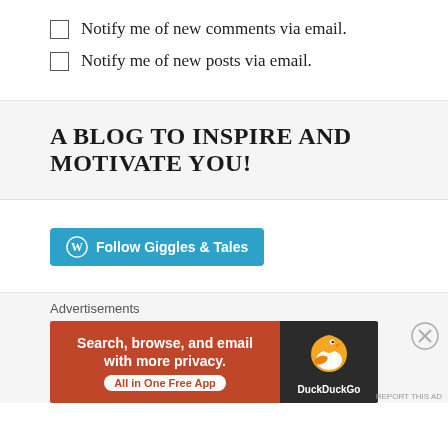Notify me of new comments via email.
Notify me of new posts via email.
A BLOG TO INSPIRE AND MOTIVATE YOU!
Follow Giggles & Tales
Advertisements
[Figure (screenshot): DuckDuckGo advertisement banner: 'Search, browse, and email with more privacy. All in One Free App' with DuckDuckGo logo on dark right panel.]